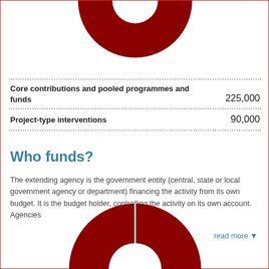[Figure (donut-chart): Partial donut/pie chart in dark red, cropped at top of page]
| Category | Amount |
| --- | --- |
| Core contributions and pooled programmes and funds | 225,000 |
| Project-type interventions | 90,000 |
Who funds?
The extending agency is the government entity (central, state or local government agency or department) financing the activity from its own budget. It is the budget holder, controlling the activity on its own account. Agencies
read more ▼
[Figure (donut-chart): Donut chart in dark red, partially visible at bottom of page, with white center and dividing line]